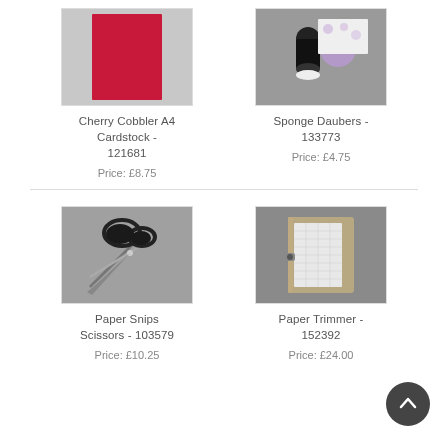[Figure (photo): Cherry Cobbler A4 Cardstock product photo - red/crimson cardstock sheet on white background]
Cherry Cobbler A4 Cardstock - 121681
Price: £8.75
[Figure (photo): Sponge Daubers product photo - two sponge daubers and round ink pad on grey background]
Sponge Daubers - 133773
Price: £4.75
[Figure (photo): Paper Snips Scissors product photo - black handled scissors on grey background]
Paper Snips Scissors - 103579
Price: £10.25
[Figure (photo): Paper Trimmer product photo - craft paper trimmer with grid mat on grey background]
Paper Trimmer - 152392
Price: £24.00